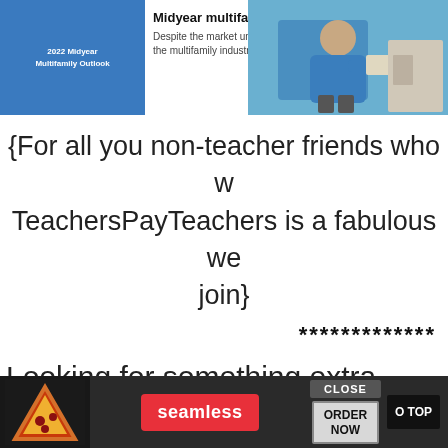[Figure (screenshot): Top advertisement banner: 2022 Midyear Multifamily Outlook ad on left, photo of person in blue shirt on right, with Learn More button]
{For all you non-teacher friends who w... TeachersPayTeachers is a fabulous we... join}
*************
Looking for something extra ... our Va...
[Figure (screenshot): Bottom Seamless food delivery advertisement with CLOSE button, ORDER NOW button, and GO TOP button]